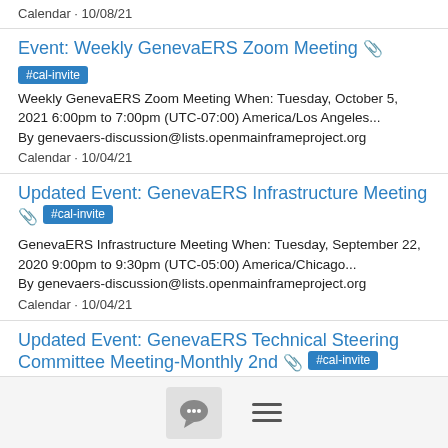Calendar · 10/08/21
Event: Weekly GenevaERS Zoom Meeting 📎
#cal-invite
Weekly GenevaERS Zoom Meeting When: Tuesday, October 5, 2021 6:00pm to 7:00pm (UTC-07:00) America/Los Angeles...
By genevaers-discussion@lists.openmainframeproject.org
Calendar · 10/04/21
Updated Event: GenevaERS Infrastructure Meeting 📎 #cal-invite
GenevaERS Infrastructure Meeting When: Tuesday, September 22, 2020 9:00pm to 9:30pm (UTC-05:00) America/Chicago...
By genevaers-discussion@lists.openmainframeproject.org
Calendar · 10/04/21
Updated Event: GenevaERS Technical Steering Committee Meeting-Monthly 2nd 📎 #cal-invite
GenevaERS Technical Steering Committee Meeting-Monthly 2nd